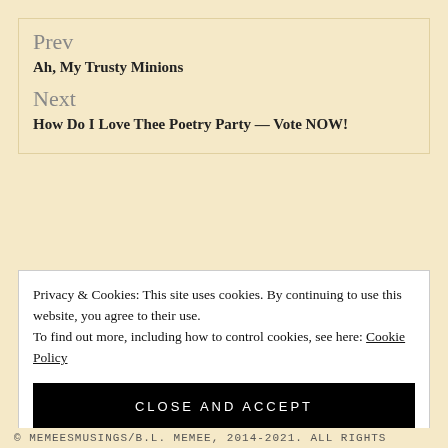Prev
Ah, My Trusty Minions
Next
How Do I Love Thee Poetry Party — Vote NOW!
Privacy & Cookies: This site uses cookies. By continuing to use this website, you agree to their use. To find out more, including how to control cookies, see here: Cookie Policy
CLOSE AND ACCEPT
© MEMEESMUSINGS/B.L. MEMEE, 2014-2021. ALL RIGHTS